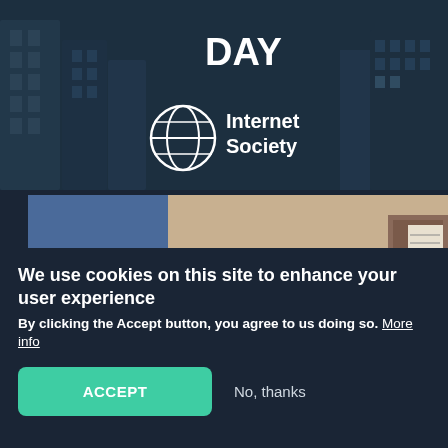[Figure (screenshot): Top banner with city/building isometric background showing Internet Society branding with text 'DAY' and Internet Society globe logo]
[Figure (photo): Photo of a person in a blue jacket looking out over a construction site]
We use cookies on this site to enhance your user experience
By clicking the Accept button, you agree to us doing so. More info
ACCEPT   No, thanks